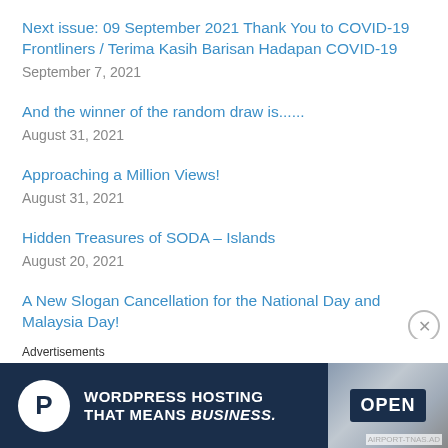Next issue: 09 September 2021 Thank You to COVID-19 Frontliners / Terima Kasih Barisan Hadapan COVID-19
September 7, 2021
And the winner of the random draw is......
August 31, 2021
Approaching a Million Views!
August 31, 2021
Hidden Treasures of SODA – Islands
August 20, 2021
A New Slogan Cancellation for the National Day and Malaysia Day!
Advertisements
[Figure (other): WordPress Hosting advertisement banner with a P logo icon and an OPEN sign image on the right. Text reads: WORDPRESS HOSTING THAT MEANS BUSINESS.]